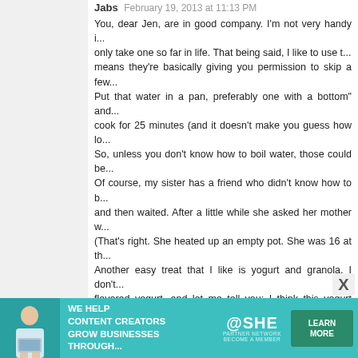Jabs February 19, 2013 at 11:13 PM
You, dear Jen, are in good company. I'm not very handy i... only take one so far in life. That being said, I like to use t... means they're basically giving you permission to skip a few... Put that water in a pan, preferably one with a bottom" and... cook for 25 minutes (and it doesn't make you guess how lo... So, unless you don't know how to boil water, those could be... Of course, my sister has a friend who didn't know how to b... and then waited. After a little while she asked her mother w... (That's right. She heated up an empty pot. She was 16 at th... Another easy treat that I like is yogurt and granola. I don't... flavored yogurt, and let me tell you: I think this yogurt was... Naked granola (its the loose kind that is easily sprinkled in... dessert, it's so sweet and decadent! I do hope you get a few more ideas from us 'botters, beca... sounds. And it doesn't really sound all that great to begin wi...
Reply
tottergirl February 19, 2013 at 11:19 PM
You should try the "I Hate to Cook Book". It is from about... Water for the Lemonade" http://www.amazon.com/The-I-Hate-Cook-Book/dp/B000O3... 2&keywords=the+I+hate+to+cook+book
[Figure (photo): Advertisement banner: SHE Partner Network - We help content creators grow businesses through... Learn More button]